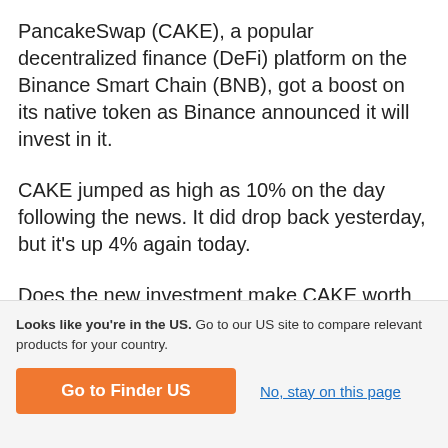PancakeSwap (CAKE), a popular decentralized finance (DeFi) platform on the Binance Smart Chain (BNB), got a boost on its native token as Binance announced it will invest in it.
CAKE jumped as high as 10% on the day following the news. It did drop back yesterday, but it's up 4% again today.
Does the new investment make CAKE worth keeping your eye on?
Looks like you're in the US. Go to our US site to compare relevant products for your country.
Go to Finder US
No, stay on this page